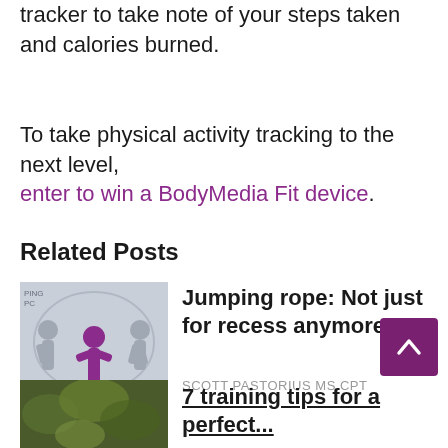tracker to take note of your steps taken and calories burned.
To take physical activity tracking to the next level, enter to win a BodyMedia Fit device.
Related Posts
[Figure (photo): Jumping rope illustration with purple silhouette figure and text 'Not just for recess anymore']
Jumping rope: Not just for recess anymore
SCOTT PASTORIUS MS CPT
[Figure (photo): Green food/vegetable image at bottom]